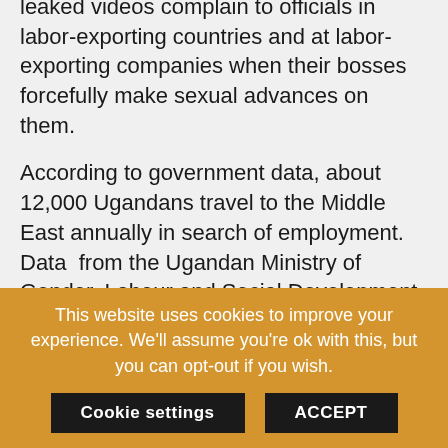leaked videos complain to officials in labor-exporting countries and at labor-exporting companies when their bosses forcefully make sexual advances on them.
According to government data, about 12,000 Ugandans travel to the Middle East annually in search of employment. Data from the Ugandan Ministry of Gender, Labour and Social Development, under which labour externalisation is supervised, indicate that the number of Ugandans seeking employment in the Middle East has been growing since 2010,. That region has become one of the biggest providers of labour opportunities and sources of remittances sent back
This website uses cookies to improve your experience. We'll assume you're ok with this, but you can opt-out if you wish.